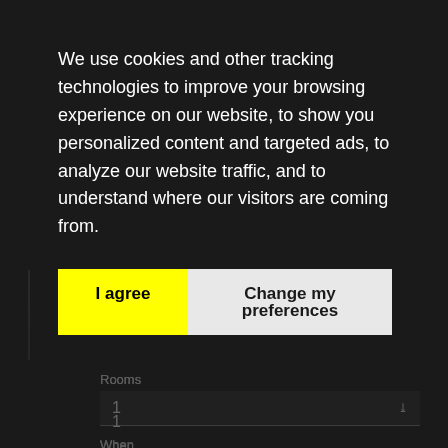We use cookies and other tracking technologies to improve your browsing experience on our website, to show you personalized content and targeted ads, to analyze our website traffic, and to understand where our visitors are coming from.
I agree
Change my preferences
[Figure (photo): Blurred/greyed out background image, partially visible beneath the cookie consent modal overlay]
Rooms
1
When